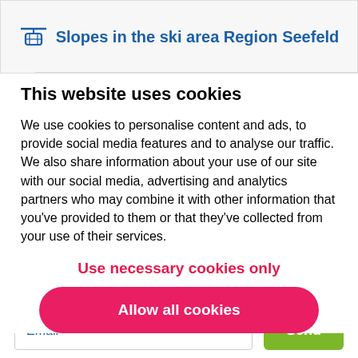Slopes in the ski area Region Seefeld
This website uses cookies
We use cookies to personalise content and ads, to provide social media features and to analyse our traffic. We also share information about your use of our site with our social media, advertising and analytics partners who may combine it with other information that you’ve provided to them or that they’ve collected from your use of their services.
Use necessary cookies only
Allow all cookies
forecast from your favourite ski resorts.
Email
Send